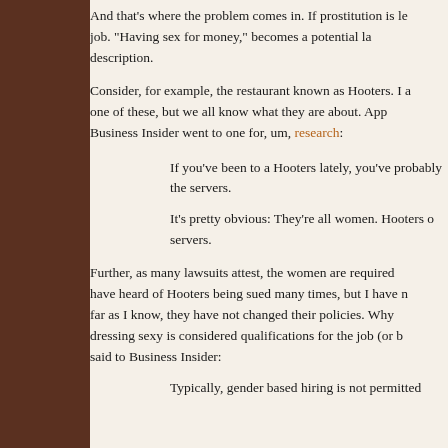And that's where the problem comes in. If prostitution is le job. "Having sex for money," becomes a potential la description.
Consider, for example, the restaurant known as Hooters. I a one of these, but we all know what they are about. App Business Insider went to one for, um, research:
If you've been to a Hooters lately, you've probably the servers.
It's pretty obvious: They're all women. Hooters o servers.
Further, as many lawsuits attest, the women are required have heard of Hooters being sued many times, but I have n far as I know, they have not changed their policies. Why dressing sexy is considered qualifications for the job (or b said to Business Insider:
Typically, gender based hiring is not permitted